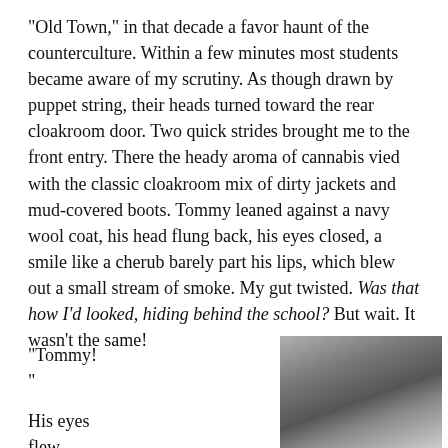“Old Town,” in that decade a favor haunt of the counterculture. Within a few minutes most students became aware of my scrutiny. As though drawn by puppet string, their heads turned toward the rear cloakroom door. Two quick strides brought me to the front entry. There the heady aroma of cannabis vied with the classic cloakroom mix of dirty jackets and mud-covered boots. Tommy leaned against a navy wool coat, his head flung back, his eyes closed, a smile like a cherub barely part his lips, which blew out a small stream of smoke. My gut twisted. Was that how I’d looked, hiding behind the school? But wait. It wasn’t the same!
“Tommy!”
[Figure (photo): Black and white photo of a young boy with neatly combed dark hair, looking slightly downward, with a blurred background.]
His eyes flew